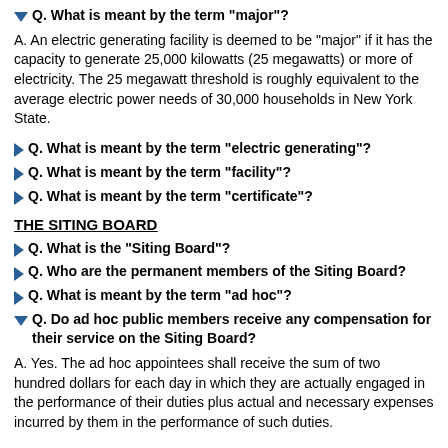Q. What is meant by the term "major"?
A. An electric generating facility is deemed to be "major" if it has the capacity to generate 25,000 kilowatts (25 megawatts) or more of electricity. The 25 megawatt threshold is roughly equivalent to the average electric power needs of 30,000 households in New York State.
Q. What is meant by the term "electric generating"?
Q. What is meant by the term "facility"?
Q. What is meant by the term "certificate"?
THE SITING BOARD
Q. What is the "Siting Board"?
Q. Who are the permanent members of the Siting Board?
Q. What is meant by the term "ad hoc"?
Q. Do ad hoc public members receive any compensation for their service on the Siting Board?
A. Yes. The ad hoc appointees shall receive the sum of two hundred dollars for each day in which they are actually engaged in the performance of their duties plus actual and necessary expenses incurred by them in the performance of such duties.